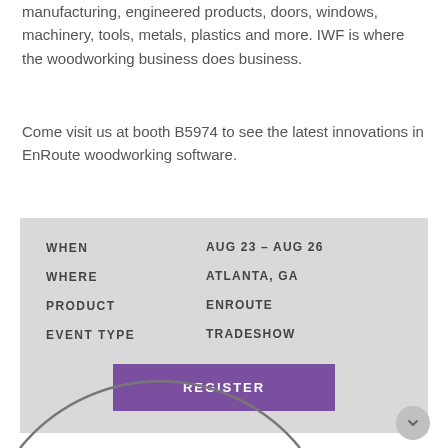manufacturing, engineered products, doors, windows, machinery, tools, metals, plastics and more. IWF is where the woodworking business does business.
Come visit us at booth B5974 to see the latest innovations in EnRoute woodworking software.
|  |  |
| --- | --- |
| WHEN | AUG 23 – AUG 26 |
| WHERE | ATLANTA, GA |
| PRODUCT | ENROUTE |
| EVENT TYPE | TRADESHOW |
REGISTER
[Figure (illustration): Partial arc/circle outline visible at bottom-left of the page]